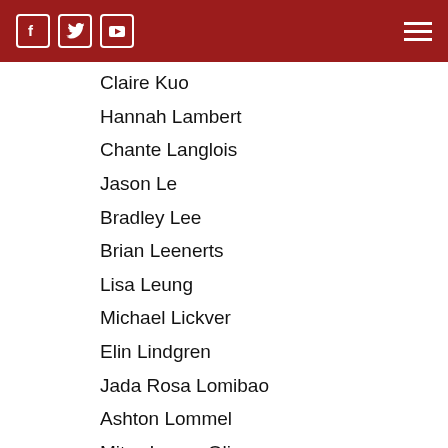Social media icons and navigation menu
Claire Kuo
Hannah Lambert
Chante Langlois
Jason Le
Bradley Lee
Brian Leenerts
Lisa Leung
Michael Lickver
Elin Lindgren
Jada Rosa Lomibao
Ashton Lommel
Mitzy Lopez-Olivares
Bethany Low
James Chris Lucas
Lorena Luna